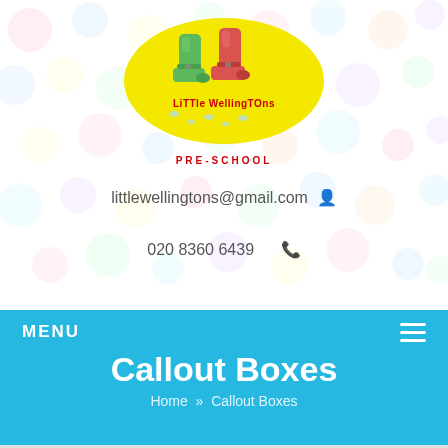[Figure (logo): Little Wellingtons Pre-School logo: yellow oval with green and red wellington boots illustration and polka dot background, with text 'LiTTle WellingTOns PRE-SCHOOL']
littlewellingtons@gmail.com
020 8360 6439
MENU
Callout Boxes
Home » Callout Boxes